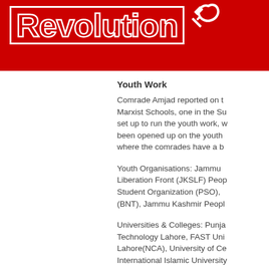Revolution
Youth Work
Comrade Amjad reported on the Marxist Schools, one in the Su set up to run the youth work, w been opened up on the youth where the comrades have a b
Youth Organisations: Jammu Liberation Front (JKSLF) Peop Student Organization (PSO), (BNT), Jammu Kashmir Peopl
Universities & Colleges: Punja Technology Lahore, FAST Uni Lahore(NCA), University of Ce International Islamic University Agriculture University Faisalab Engineering & Technology Tax University, Sarhed University